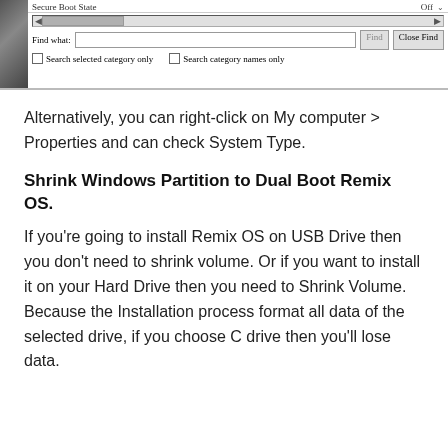[Figure (screenshot): Screenshot of a Windows system information dialog showing 'Secure Boot State: Off' with a horizontal scrollbar, a Find bar with 'Find what:' label, empty text input, 'Find' button (grayed), 'Close Find' button, and two checkboxes: 'Search selected category only' and 'Search category names only'.]
Alternatively, you can right-click on My computer > Properties and can check System Type.
Shrink Windows Partition to Dual Boot Remix OS.
If you're going to install Remix OS on USB Drive then you don't need to shrink volume. Or if you want to install it on your Hard Drive then you need to Shrink Volume. Because the Installation process format all data of the selected drive, if you choose C drive then you'll lose data.